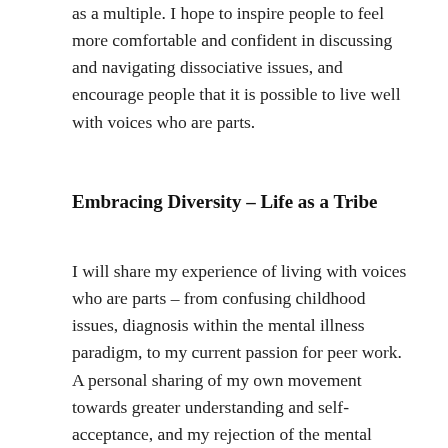as a multiple. I hope to inspire people to feel more comfortable and confident in discussing and navigating dissociative issues, and encourage people that it is possible to live well with voices who are parts.
Embracing Diversity – Life as a Tribe
I will share my experience of living with voices who are parts – from confusing childhood issues, diagnosis within the mental illness paradigm, to my current passion for peer work. A personal sharing of my own movement towards greater understanding and self-acceptance, and my rejection of the mental illness model in favour of "a grand adventure of self discovery". I'll share sad and funny life stories about multiplicity that